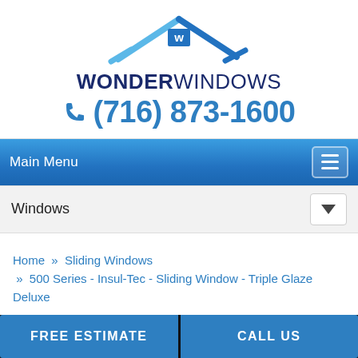[Figure (logo): Wonder Windows logo with stylized roof/house outline in blue and a square 'W' badge, brand name WONDER WINDOWS below]
(716) 873-1600
Main Menu
Windows
Home » Sliding Windows » 500 Series - Insul-Tec - Sliding Window - Triple Glaze Deluxe
FREE ESTIMATE
CALL US